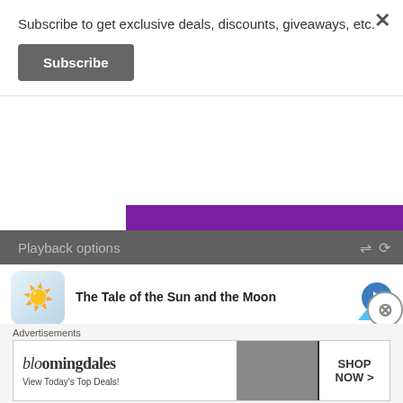Subscribe to get exclusive deals, discounts, giveaways, etc.
Subscribe
Playback options
The Tale of the Sun and the Moon
Blackbeard, Bluebeard & Redbeard - A Pirate
Elmo's Alphabet Rap
Advertisements
[Figure (screenshot): Bloomingdales advertisement banner: 'bloomingdales - View Today's Top Deals!' with a woman wearing a hat and 'SHOP NOW >' button]